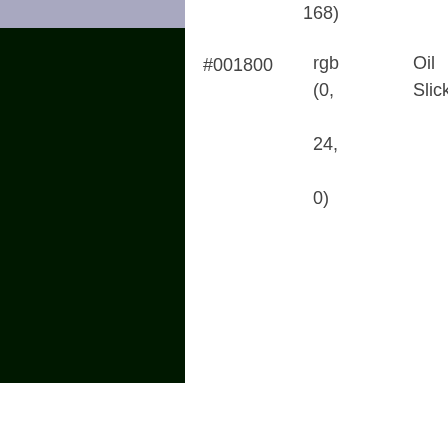| Swatch | Hex | RGB | Name |
| --- | --- | --- | --- |
| [previous] |  | 168) |  |
| #001800 | #001800 | rgb (0, 24, 0) | Oil Slick |
| #a8a8c0 | #a8a8c0 | rgb (168, 168, 192) | Fife |
| #a8d8c0 | #a8d8c0 | rgb (168, 216, 192) | Southern Belle |